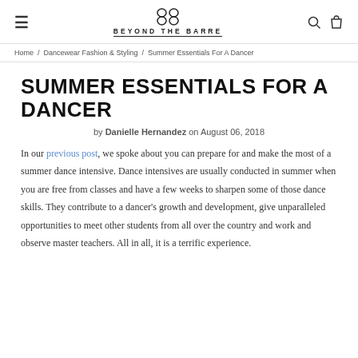≡  BEYOND THE BARRE  🔍  🛍
Home / Dancewear Fashion & Styling / Summer Essentials For A Dancer
SUMMER ESSENTIALS FOR A DANCER
by Danielle Hernandez on August 06, 2018
In our previous post, we spoke about you can prepare for and make the most of a summer dance intensive. Dance intensives are usually conducted in summer when you are free from classes and have a few weeks to sharpen some of those dance skills. They contribute to a dancer's growth and development, give unparalleled opportunities to meet other students from all over the country and work and observe master teachers. All in all, it is a terrific experience.